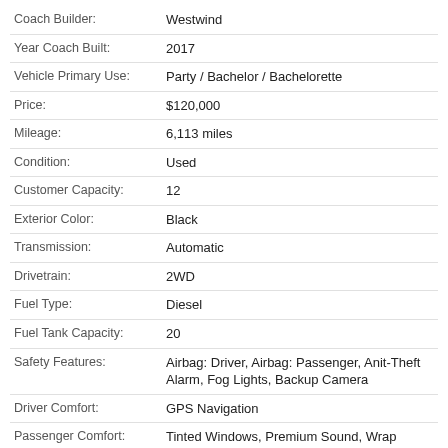| Field | Value |
| --- | --- |
| Coach Builder: | Westwind |
| Year Coach Built: | 2017 |
| Vehicle Primary Use: | Party / Bachelor / Bachelorette |
| Price: | $120,000 |
| Mileage: | 6,113 miles |
| Condition: | Used |
| Customer Capacity: | 12 |
| Exterior Color: | Black |
| Transmission: | Automatic |
| Drivetrain: | 2WD |
| Fuel Type: | Diesel |
| Fuel Tank Capacity: | 20 |
| Safety Features: | Airbag: Driver, Airbag: Passenger, Anit-Theft Alarm, Fog Lights, Backup Camera |
| Driver Comfort: | GPS Navigation |
| Passenger Comfort: | Tinted Windows, Premium Sound, Wrap Around Seating, Mood Lighting, Window Shades, Leather Seats, TV/DVD |